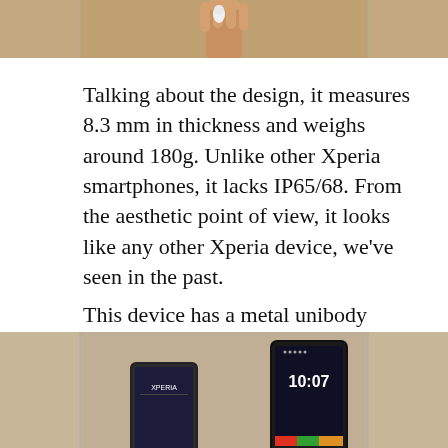[Figure (photo): Top portion of a photo showing a hand holding a small object, cropped at the bottom edge of the image]
Talking about the design, it measures 8.3 mm in thickness and weighs around 180g. Unlike other Xperia smartphones, it lacks IP65/68. From the aesthetic point of view, it looks like any other Xperia device, we’ve seen in the past.
This device has a metal unibody design along with curved corners and rounded edges, which is undoubtedly premium for a mid-range device.
[Figure (photo): Photo of two Sony Xperia smartphones placed side by side on a beige/tan surface, showing their front screens. The right phone displays 10:07 on its screen.]